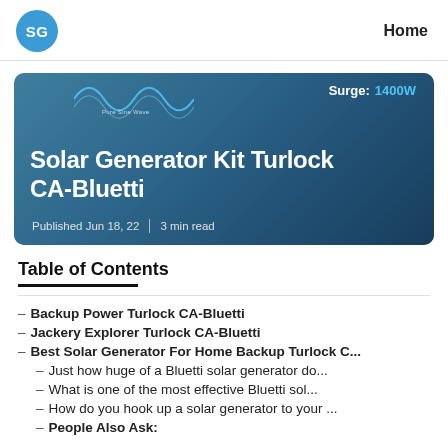SG | Home
[Figure (photo): Hero image of a solar generator kit with sine wave graphic overlay. Text reads: Surge: 1400W, Solar Generator Kit Turlock CA-Bluetti, Published Jun 18, 22, 3 min read]
Table of Contents
Backup Power Turlock CA-Bluetti
Jackery Explorer Turlock CA-Bluetti
Best Solar Generator For Home Backup Turlock C...
Just how huge of a Bluetti solar generator do...
What is one of the most effective Bluetti sol...
How do you hook up a solar generator to your ...
People Also Ask: